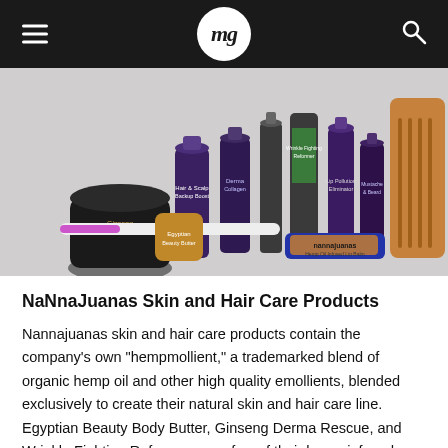mg
[Figure (photo): Collection of NaNnaJuanas skin and hair care product bottles and containers in purple and other colors, arranged together with a toothbrush and a wooden comb, on a white background.]
NaNnaJuanas Skin and Hair Care Products
Nannajuanas skin and hair care products contain the company’s own “hempmollient,” a trademarked blend of organic hemp oil and other high quality emollients, blended exclusively to create their natural skin and hair care line. Egyptian Beauty Body Butter, Ginseng Derma Rescue, and Wrinkle Fighting Reformer are a few of their hemp-infused skincare products. Nannajuanas also offers lip balms, as well